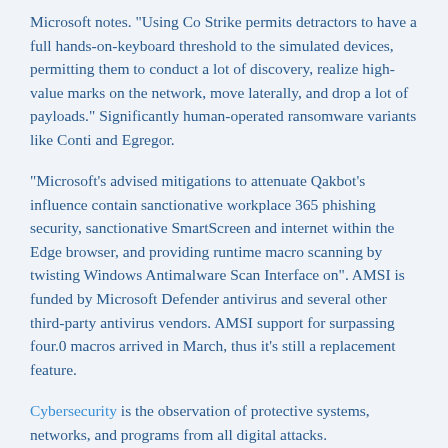Microsoft notes. "Using Co Strike permits detractors to have a full hands-on-keyboard threshold to the simulated devices, permitting them to conduct a lot of discovery, realize high-value marks on the network, move laterally, and drop a lot of payloads." Significantly human-operated ransomware variants like Conti and Egregor.
"Microsoft's advised mitigations to attenuate Qakbot's influence contain sanctionative workplace 365 phishing security, sanctionative SmartScreen and internet within the Edge browser, and providing runtime macro scanning by twisting Windows Antimalware Scan Interface on". AMSI is funded by Microsoft Defender antivirus and several other third-party antivirus vendors. AMSI support for surpassing four.0 macros arrived in March, thus it's still a replacement feature.
Cybersecurity is the observation of protective systems, networks, and programs from all digital attacks.